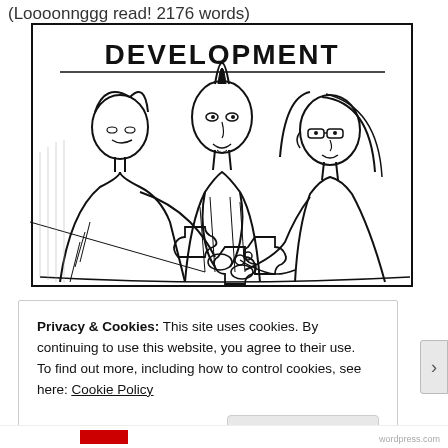(Loooonnggg read! 2176 words)
[Figure (illustration): Hand-drawn sketch illustration showing three people around a table assembling puzzle pieces, with the word 'DEVELOPMENT' written in block letters at the top of the sketch.]
Privacy & Cookies: This site uses cookies. By continuing to use this website, you agree to their use.
To find out more, including how to control cookies, see here: Cookie Policy
Close and accept